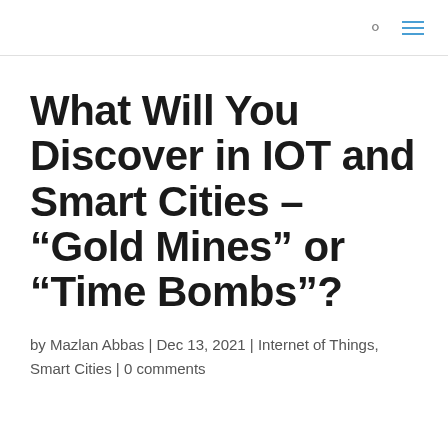What Will You Discover in IOT and Smart Cities – “Gold Mines” or “Time Bombs”?
by Mazlan Abbas | Dec 13, 2021 | Internet of Things, Smart Cities | 0 comments